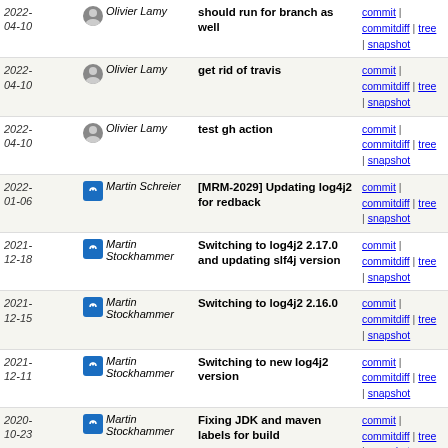| Date | Author | Message | Links |
| --- | --- | --- | --- |
| 2022-04-10 | Olivier Lamy | should run for branch as well | commit | commitdiff | tree | snapshot |
| 2022-04-10 | Olivier Lamy | get rid of travis | commit | commitdiff | tree | snapshot |
| 2022-04-10 | Olivier Lamy | test gh action | commit | commitdiff | tree | snapshot |
| 2022-01-06 | Martin Schreier | [MRM-2029] Updating log4j2 for redback | commit | commitdiff | tree | snapshot |
| 2021-12-18 | Martin Stockhammer | Switching to log4j2 2.17.0 and updating slf4j version | commit | commitdiff | tree | snapshot |
| 2021-12-15 | Martin Stockhammer | Switching to log4j2 2.16.0 | commit | commitdiff | tree | snapshot |
| 2021-12-11 | Martin Stockhammer | Switching to new log4j2 version | commit | commitdiff | tree | snapshot |
| 2020-10-23 | Martin Stockhammer | Fixing JDK and maven labels for build | commit | commitdiff | tree | snapshot |
| 2020-06-13 | Martin Stockhammer | [maven-release-plugin] prepare for next development... | commit | commitdiff | tree | snapshot |
| 2020-06-13 | Martin Stockhammer | [maven-release-plugin] prepare release redback-2.6.1 [tag: redback-2.6.1] | commit | commitdiff | tree | snapshot |
| 2020-05-10 | Martin Stockhammer | Improving LDAP filters by escaping characters | commit | commitdiff | tree | snapshot |
| 2020-02-10 | Martin Stockhammer | Adding parameter for threads to jenkins file | commit | commitdiff | tree | snapshot |